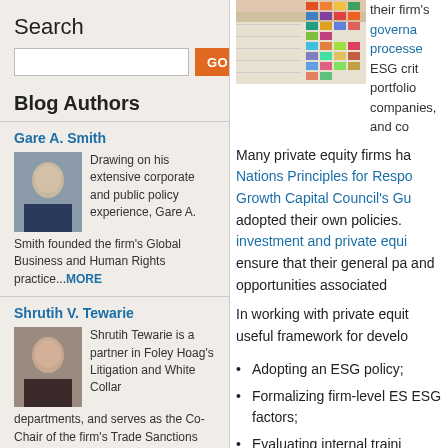Search
Blog Authors
Gare A. Smith
Drawing on his extensive corporate and public policy experience, Gare A. Smith founded the firm's Global Business and Human Rights practice...MORE
Shrutih V. Tewarie
Shrutih Tewarie is a partner in Foley Hoag's Litigation and White Collar departments, and serves as the Co-Chair of the firm's Trade Sanctions and Export Controls practice. ...MORE
Isa Mirza
[Figure (photo): Photo of colorful financial charts/data sheets]
their firm's governance processes. ESG criteria portfolio companies, and co
Many private equity firms ha Nations Principles for Respo Growth Capital Council's Gu adopted their own policies. investment and private equi ensure that their general pa and opportunities associated
In working with private equit useful framework for develo
Adopting an ESG policy;
Formalizing firm-level ES ESG factors;
Evaluating internal traini